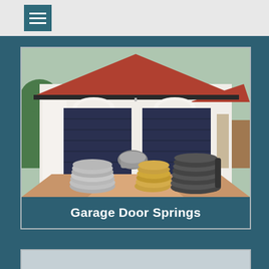[Figure (other): Navigation bar with hamburger menu icon (three horizontal lines) on light gray background]
[Figure (photo): Photo of a double garage with dark navy roller doors on a white rendered house with terracotta tile roof, overlaid with garage door springs in the foreground. Caption bar reads 'Garage Door Springs'.]
Garage Door Springs